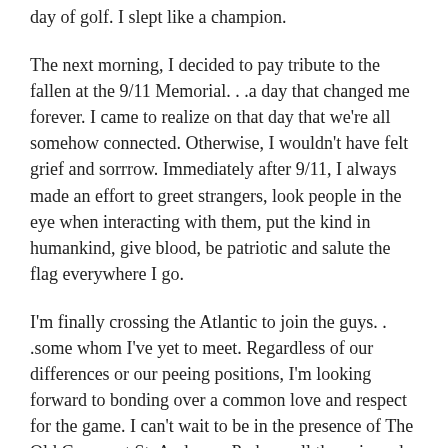day of golf. I slept like a champion.
The next morning, I decided to pay tribute to the fallen at the 9/11 Memorial…a day that changed me forever. I came to realize on that day that we're all somehow connected. Otherwise, I wouldn't have felt grief and sorrrow. Immediately after 9/11, I always made an effort to greet strangers, look people in the eye when interacting with them, put the kind in humankind, give blood, be patriotic and salute the flag everywhere I go.
I'm finally crossing the Atlantic to join the guys…some whom I've yet to meet. Regardless of our differences or our peeing positions, I'm looking forward to bonding over a common love and respect for the game. I can't wait to be in the presence of The Old Course at St. Andrews. Perhaps all the pain and suffering I've endured will be behind me and the golf gods will show some mercy 🙂